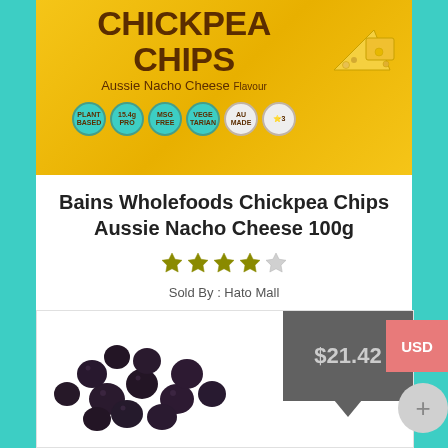[Figure (photo): Chickpea Chips Aussie Nacho Cheese flavour product bag on yellow background with badges]
Bains Wholefoods Chickpea Chips Aussie Nacho Cheese 100g
[Figure (other): 4-star rating (4 out of 5 stars filled in olive/gold color)]
Sold By : Hato Mall
Add to cart
[Figure (photo): Dried dark berries/blueberries product photo with price tag $21.42]